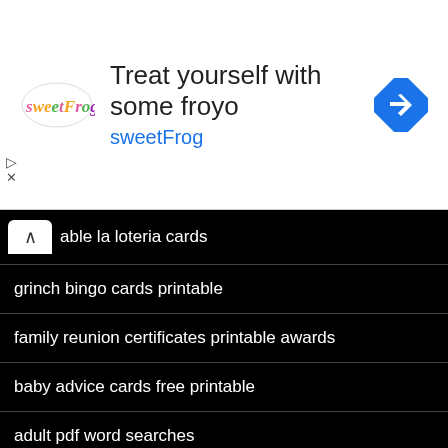[Figure (screenshot): Advertisement banner for sweetFrog frozen yogurt. Contains sweetFrog logo, text 'Treat yourself with some froyo' and 'sweetFrog', and a blue diamond navigation arrow icon.]
able la loteria cards
grinch bingo cards printable
family reunion certificates printable awards
baby advice cards free printable
adult pdf word searches
quizzes with pictures and answers
Popular
100 free printable bingo cards
printable bingo cards free pdf